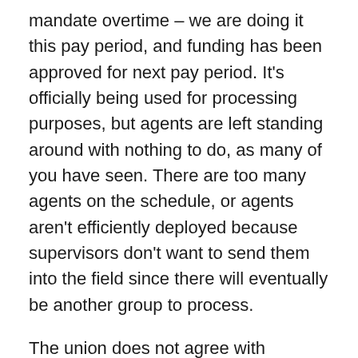mandate overtime – we are doing it this pay period, and funding has been approved for next pay period. It's officially being used for processing purposes, but agents are left standing around with nothing to do, as many of you have seen. There are too many agents on the schedule, or agents aren't efficiently deployed because supervisors don't want to send them into the field since there will eventually be another group to process.
The union does not agree with overtime being mandated, and we certainly don't agree with it being mandated for only processing. If overtime is going to be mandated, it should be used to put more agents in the field so we can arrest the illegal aliens crossing the border who are not turning themselves in.
By using overtime only to try to speed up the processing of family units, we are just encouraging